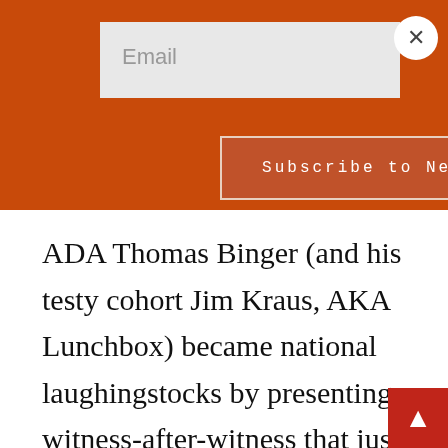[Figure (screenshot): Orange newsletter signup banner with email input field, close button (×), and 'Subscribe to Newsletter' button]
ADA Thomas Binger (and his testy cohort Jim Kraus, AKA Lunchbox) became national laughingstocks by presenting witness-after-witness that just helped the defense and by using slimy tactics in court that enraged the judge repeatedly (like playing audio referring to a militia when the judge told them not to and appearing to use Rittenhouse's right to silence against him). What a clown show. But the media thought the stern an